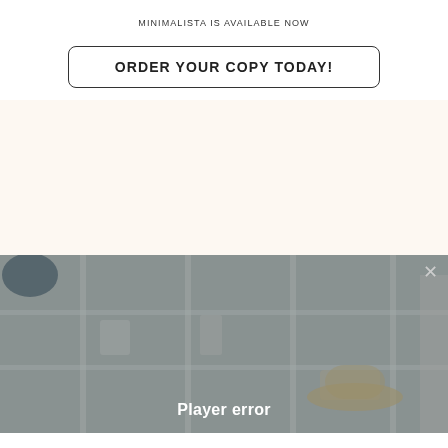MINIMALISTA IS AVAILABLE NOW
ORDER YOUR COPY TODAY!
[Figure (screenshot): Video player showing shelving/closet interior with a 'Player error' overlay message and a close (×) button in the top right corner.]